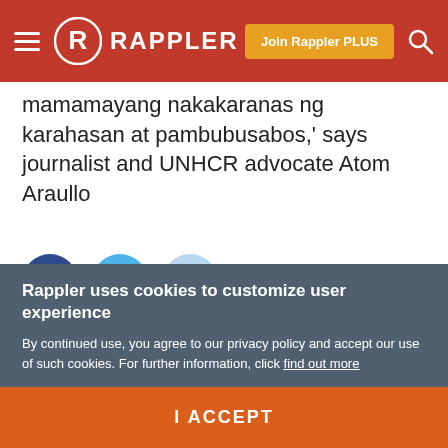Rappler
mamamayang nakakaranas ng karahasan at pambubusabos,' says journalist and UNHCR advocate Atom Araullo
[Figure (photo): Colorful woven textiles/fabrics with a person with dark hair visible in the middle]
Rappler uses cookies to customize user experience

By continued use, you agree to our privacy policy and accept our use of such cookies. For further information, click find out more
I ACCEPT